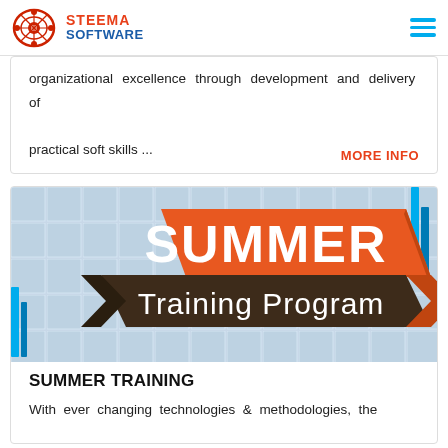STEEMA SOFTWARE
organizational excellence through development and delivery of practical soft skills ...
MORE INFO
[Figure (illustration): Summer Training Program promotional banner with orange SUMMER text block and dark brown Training Program ribbon on a blue/silver tile background]
SUMMER TRAINING
With ever changing technologies & methodologies, the competition today is much greater than ever before. The industrial